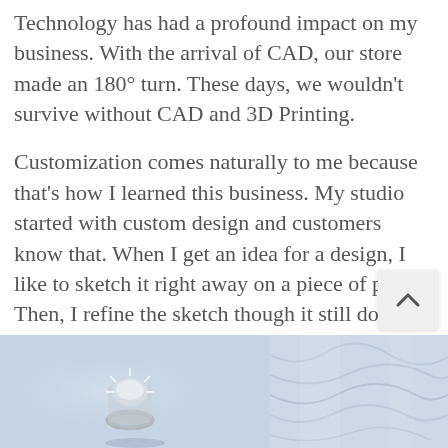Technology has had a profound impact on my business. With the arrival of CAD, our store made an 180° turn. These days, we wouldn't survive without CAD and 3D Printing.
Customization comes naturally to me because that's how I learned this business. My studio started with custom design and customers know that. When I get an idea for a design, I like to sketch it right away on a piece of paper. Then, I refine the sketch though it still doesn't have to be perfect. Then I approach Gino, my son and our CAD designer, and explain to him what I'd like to accomplish.
[Figure (photo): Two side-by-side photos: left shows a diamond ring on a light blue background, right shows light blue fabric or cloth material.]